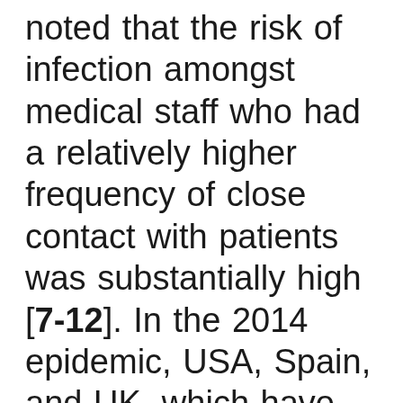noted that the risk of infection amongst medical staff who had a relatively higher frequency of close contact with patients was substantially high [7-12]. In the 2014 epidemic, USA, Spain, and UK, which have dispatched medical teams, also experienced casualties and cases of infection [8-